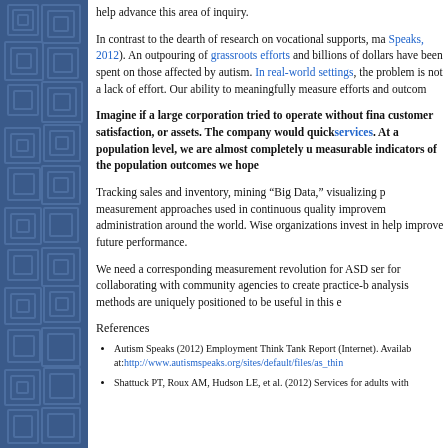help advance this area of inquiry.
In contrast to the dearth of research on vocational supports, ma [Autism Speaks, 2012]. An outpouring of grassroots efforts and billions of dollars have been spent on those affected by autism. In real-world settings, the problem is not a lack of effort. Our ability to meaningfully measure efforts and outcomes...
Imagine if a large corporation tried to operate without financial data, measures of customer satisfaction, or assets. The company would quickly... services. At a population level, we are almost completely un... measurable indicators of the population outcomes we hope...
Tracking sales and inventory, mining “Big Data,” visualizing p... measurement approaches used in continuous quality improvement... administration around the world. Wise organizations invest in... help improve future performance.
We need a corresponding measurement revolution for ASD ser... for collaborating with community agencies to create practice-b... analysis methods are uniquely positioned to be useful in this e...
References
Autism Speaks (2012) Employment Think Tank Report (Internet). Available at: http://www.autismspeaks.org/sites/default/files/as_thin...
Shattuck PT, Roux AM, Hudson LE, et al. (2012) Services for adults with...